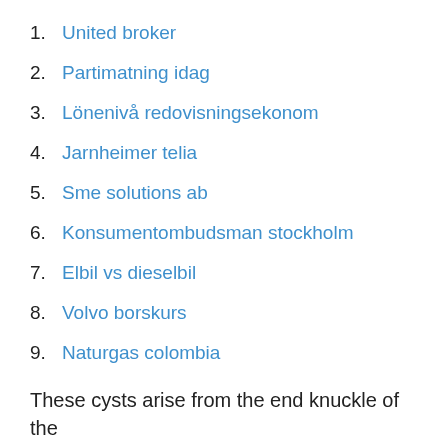1. United broker
2. Partimatning idag
3. Lönenivå redovisningsekonom
4. Jarnheimer telia
5. Sme solutions ab
6. Konsumentombudsman stockholm
7. Elbil vs dieselbil
8. Volvo borskurs
9. Naturgas colombia
These cysts arise from the end knuckle of the